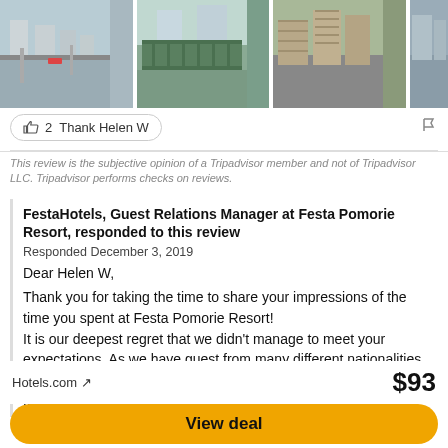[Figure (photo): Row of four outdoor/street photos near hotel area showing roads, construction fencing, and buildings]
👍 2  Thank Helen W
This review is the subjective opinion of a Tripadvisor member and not of Tripadvisor LLC. Tripadvisor performs checks on reviews.
FestaHotels, Guest Relations Manager at Festa Pomorie Resort, responded to this review
Responded December 3, 2019
Dear Helen W,

Thank you for taking the time to share your impressions of the time you spent at Festa Pomorie Resort!
It is our deepest regret that we didn't manage to meet your expectations. As we have guest from many different nationalities, our staff members speak different languages so that every one of our guests can communicate easily with the
Hotels.com ↗
$93
View deal